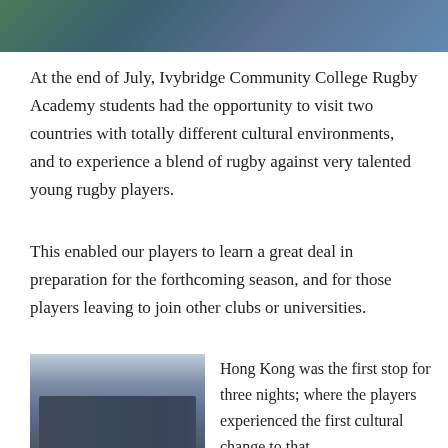[Figure (photo): Partial view of a person in blue shirt against green/outdoor background — top of previous photo cropped]
At the end of July, Ivybridge Community College Rugby Academy students had the opportunity to visit two countries with totally different cultural environments, and to experience a blend of rugby against very talented young rugby players.
This enabled our players to learn a great deal in preparation for the forthcoming season, and for those players leaving to join other clubs or universities.
[Figure (photo): Group photo of rugby academy students and staff posing together indoors, likely at an airport, holding a banner.]
Hong Kong was the first stop for three nights; where the players experienced the first cultural change to that